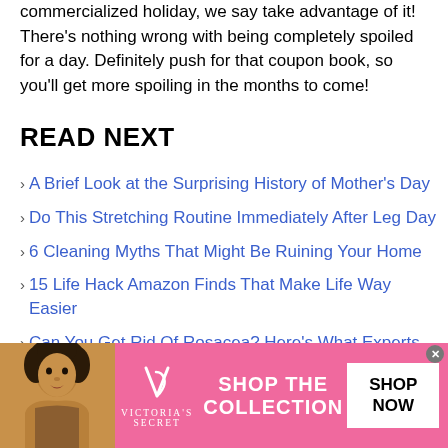commercialized holiday, we say take advantage of it! There's nothing wrong with being completely spoiled for a day. Definitely push for that coupon book, so you'll get more spoiling in the months to come!
READ NEXT
A Brief Look at the Surprising History of Mother's Day
Do This Stretching Routine Immediately After Leg Day
6 Cleaning Myths That Might Be Ruining Your Home
15 Life Hack Amazon Finds That Make Life Way Easier
Can You Get Rid Of Rosacea? Here's What Experts Say
[Figure (photo): Victoria's Secret advertisement banner with a woman model on the left, Victoria's Secret logo in the center, 'SHOP THE COLLECTION' text, and a 'SHOP NOW' button on the right. Pink/red gradient background.]